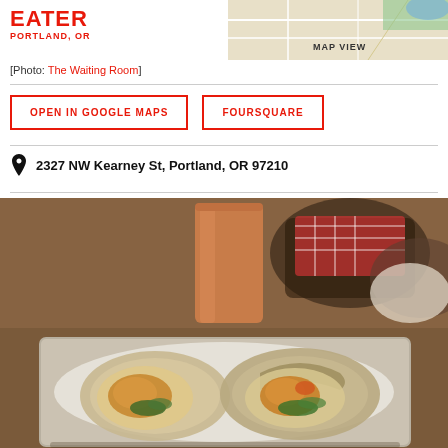EATER PORTLAND, OR
[Figure (map): MAP VIEW thumbnail showing a street map]
[Photo: The Waiting Room]
OPEN IN GOOGLE MAPS
FOURSQUARE
2327 NW Kearney St, Portland, OR 97210
[Figure (photo): Food photo showing baked oysters on a metal tray with an orange drink and a wire basket in the background]